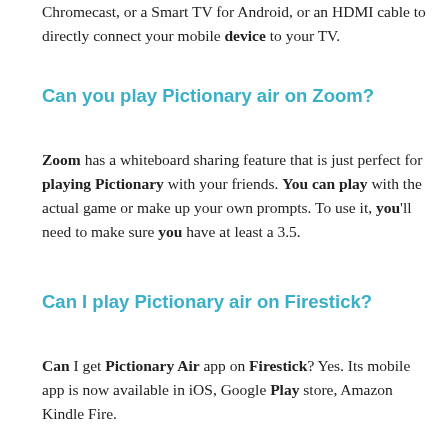Chromecast, or a Smart TV for Android, or an HDMI cable to directly connect your mobile device to your TV.
Can you play Pictionary air on Zoom?
Zoom has a whiteboard sharing feature that is just perfect for playing Pictionary with your friends. You can play with the actual game or make up your own prompts. To use it, you'll need to make sure you have at least a 3.5.
Can I play Pictionary air on Firestick?
Can I get Pictionary Air app on Firestick? Yes. Its mobile app is now available in iOS, Google Play store, Amazon Kindle Fire.